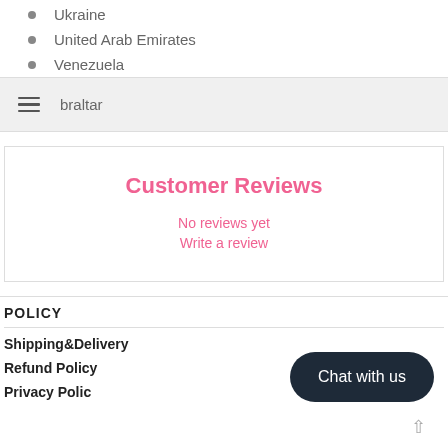Ukraine
United Arab Emirates
Venezuela
braltar
Customer Reviews
No reviews yet
Write a review
POLICY
Shipping&Delivery
Refund Policy
Privacy Policy
Chat with us